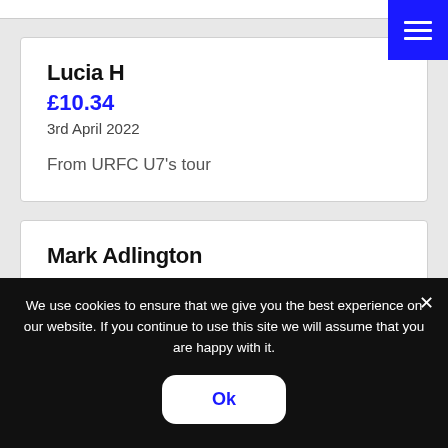Lucia H
£10.34
3rd April 2022

From URFC U7's tour
Mark Adlington
£10.34
3rd April 2022
We use cookies to ensure that we give you the best experience on our website. If you continue to use this site we will assume that you are happy with it.
Ok